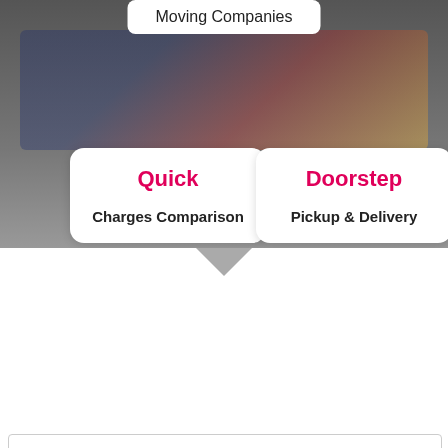Moving Companies
Quick
Charges Comparison
Doorstep
Pickup & Delivery
[Figure (infographic): Hero banner with illustrated moving truck and hands on phone/tablet]
[Figure (logo): Blue circular badge: Get Free Quote, Click Here, No Commission, NO FROUD, Only For Packers and Movers]
[Figure (illustration): Orange circle phone icon (call button)]
[Figure (illustration): WhatsApp green phone icon]
Best Packers And Movers Gudgarpally Hyderabad- Compare 4 Quotes